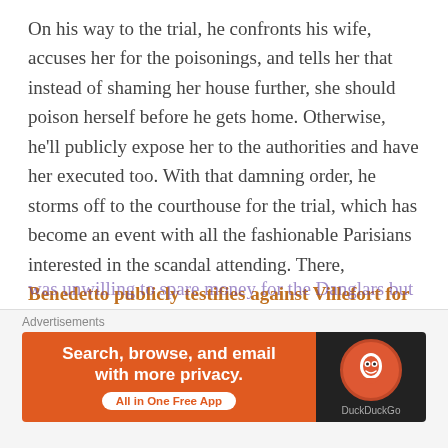On his way to the trial, he confronts his wife, accuses her for the poisonings, and tells her that instead of shaming her house further, she should poison herself before he gets home. Otherwise, he'll publicly expose her to the authorities and have her executed too. With that damning order, he storms off to the courthouse for the trial, which has become an event with all the fashionable Parisians interested in the scandal attending. There, Benedetto publicly testifies against Villefort for his affair and trying to murder his child. Faced with the skeletons in his own closet, he doesn't even let the court ask for proof, realizes he's a complete hypocrite for telling his wife to kill herself, pleads guilty on the spot, and rushes home to try and prevent disaster. But he's too late. He was unwilling to spare money for the Danglars but got
[Figure (screenshot): DuckDuckGo advertisement banner: orange background on left with text 'Search, browse, and email with more privacy. All in One Free App' and DuckDuckGo logo on dark right panel.]